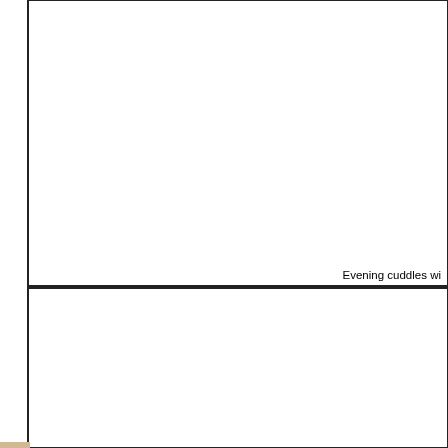[Figure (photo): Top image cell - large empty/white photo area with border]
Evening cuddles wi
[Figure (photo): Bottom image cell - large empty/white photo area with border]